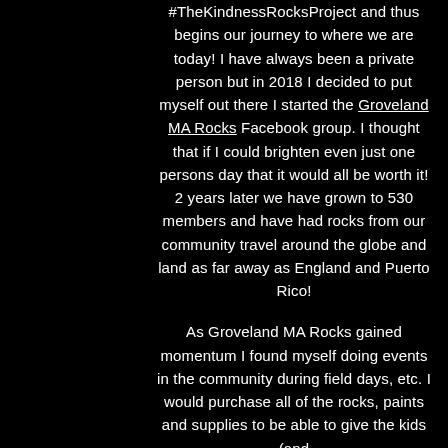#TheKindnessRocksProject and thus begins our journey to where we are today!  I have always been a private person but in 2018 I decided to put myself out there I started the Groveland MA Rocks Facebook group.  I thought that if I could brighten even just one persons day that it would all be worth it!  2 years later we have grown to 530 members and have had rocks from our community travel around the globe and land as far away as England and Puerto Rico!

As Groveland MA Rocks gained momentum I found myself doing events in the community during field days, etc.  I would purchase all of the rocks, paints and supplies to be able to give the kids (and